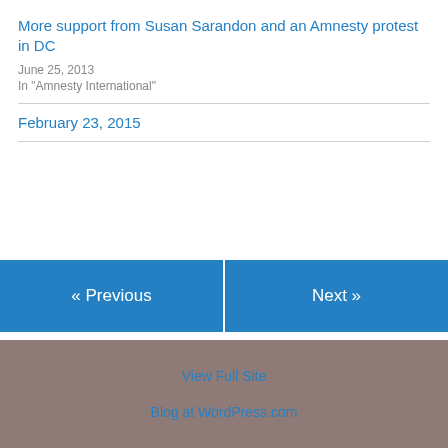More support from Susan Sarandon and an Amnesty protest in DC
June 25, 2013
In "Amnesty International"
February 23, 2015
« Previous
Next »
View Full Site
Blog at WordPress.com